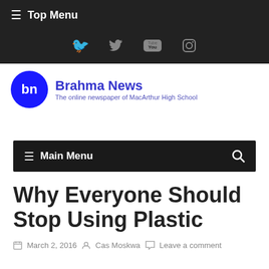≡ Top Menu
[Figure (other): Social media icons: Twitter, YouTube, Instagram in dark header bar]
[Figure (logo): Brahma News logo — blue circle with 'bn', text 'Brahma News / The online newspaper of MacArthur High School']
≡ Main Menu
Why Everyone Should Stop Using Plastic
March 2, 2016   Cas Moskwa   Leave a comment